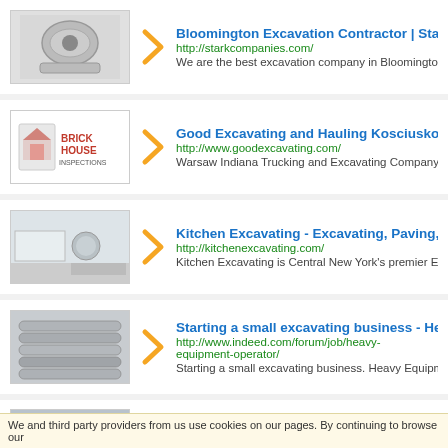Bloomington Excavation Contractor | Stark B
http://starkcompanies.com/
We are the best excavation company in Bloomington IL. Our
Good Excavating and Hauling Kosciusko Co
http://www.goodexcavating.com/
Warsaw Indiana Trucking and Excavating Company serving t
Kitchen Excavating - Excavating, Paving, Sep
http://kitchenexcavating.com/
Kitchen Excavating is Central New York's premier Excavation
Starting a small excavating business - Heavy
http://www.indeed.com/forum/job/heavy-equipment-operator/
Starting a small excavating business. Heavy Equipment Ope
J. Ippolito Excavating | Demolition | Snow Re
We and third party providers from us use cookies on our pages. By continuing to browse our